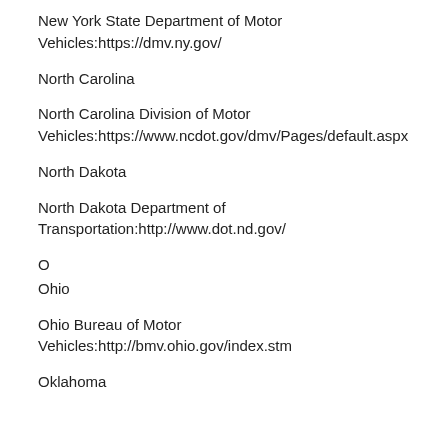New York State Department of Motor Vehicles:https://dmv.ny.gov/
North Carolina
North Carolina Division of Motor Vehicles:https://www.ncdot.gov/dmv/Pages/default.aspx
North Dakota
North Dakota Department of Transportation:http://www.dot.nd.gov/
O
Ohio
Ohio Bureau of Motor Vehicles:http://bmv.ohio.gov/index.stm
Oklahoma